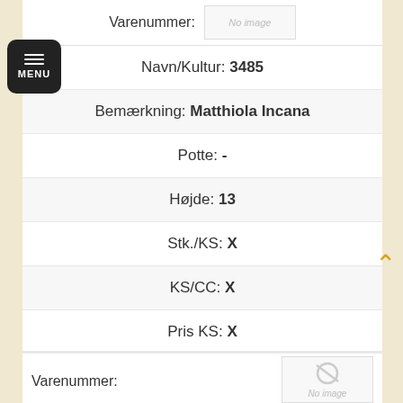Varenummer:
[Figure (other): No image placeholder box]
Navn/Kultur: 3485
Bemærkning: Matthiola Incana
Potte: -
Højde: 13
Stk./KS: X
KS/CC: X
Pris KS: X
Pris CC: Login her for køb
[Figure (other): No image placeholder box with circle-slash icon for second product]
Varenummer: